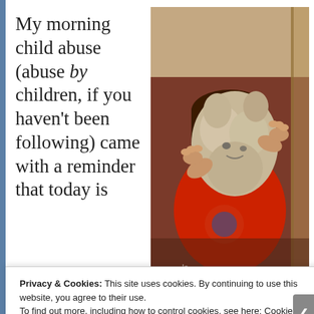My morning child abuse (abuse by children, if you haven't been following) came with a reminder that today is
[Figure (photo): A young child in a red shirt holding up a stuffed animal toy above their face with both hands raised]
Privacy & Cookies: This site uses cookies. By continuing to use this website, you agree to their use.
To find out more, including how to control cookies, see here: Cookie Policy
Close and accept